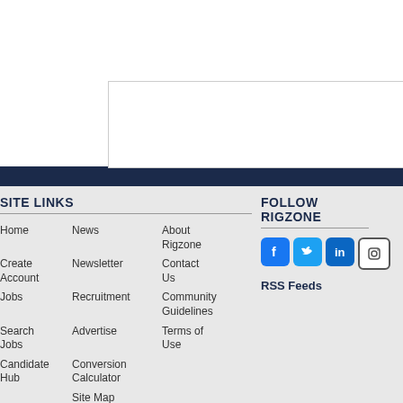[Figure (other): Advertisement box with border, partially visible in upper right area of page]
SITE LINKS
Home
Create Account
Jobs
Search Jobs
Candidate Hub
News
Newsletter
Recruitment
Advertise
Conversion Calculator
Site Map
Rigzone
About Rigzone
Contact Us
Community Guidelines
Terms of Use
FOLLOW RIGZONE
[Figure (other): Social media icons: Facebook, Twitter, LinkedIn, Instagram]
RSS Feeds